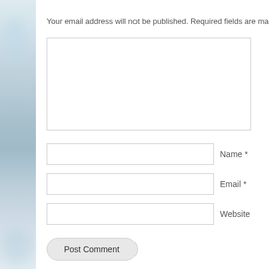Your email address will not be published. Required fields are ma
[Figure (other): Comment form with textarea for comment, input fields for Name, Email, Website, and a Post Comment button]
Name *
Email *
Website
Post Comment